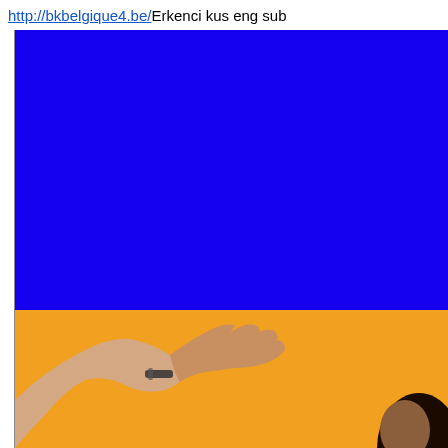http://bkbelgique4.be/Erkenci kus eng sub
[Figure (photo): Two-part image: upper large blue rectangle background, lower yellow/orange background with a person's arm raised (wearing a bracelet/wristband) extending from the left side, and a person's dark hair visible at the bottom right corner.]